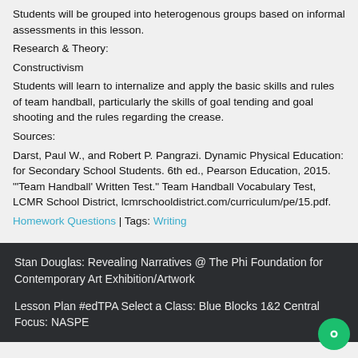Students will be grouped into heterogenous groups based on informal assessments in this lesson.
Research & Theory:
Constructivism
Students will learn to internalize and apply the basic skills and rules of team handball, particularly the skills of goal tending and goal shooting and the rules regarding the crease.
Sources:
Darst, Paul W., and Robert P. Pangrazi. Dynamic Physical Education: for Secondary School Students. 6th ed., Pearson Education, 2015. "'Team Handball' Written Test." Team Handball Vocabulary Test, LCMR School District, lcmrschooldistrict.com/curriculum/pe/15.pdf.
Homework Questions | Tags: Writing
Stan Douglas: Revealing Narratives @ The Phi Foundation for Contemporary Art Exhibition/Artwork
Lesson Plan #edTPA Select a Class: Blue Blocks 1&2 Central Focus: NASPE